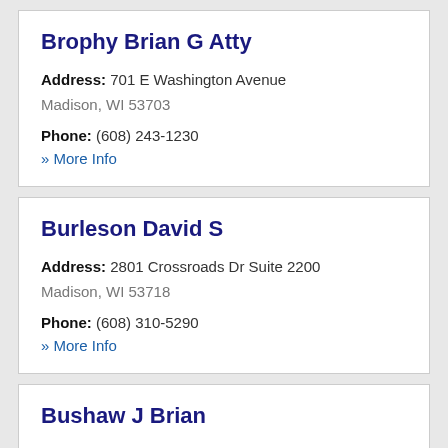Brophy Brian G Atty
Address: 701 E Washington Avenue
Madison, WI 53703
Phone: (608) 243-1230
» More Info
Burleson David S
Address: 2801 Crossroads Dr Suite 2200
Madison, WI 53718
Phone: (608) 310-5290
» More Info
Bushaw J Brian